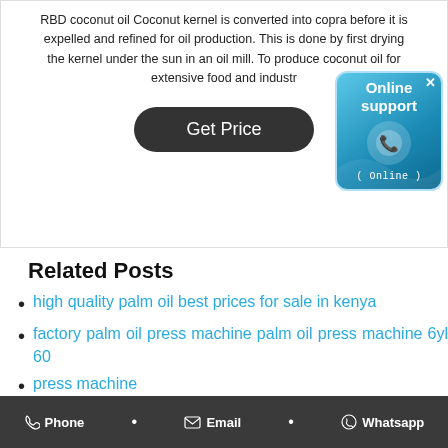RBD coconut oil Coconut kernel is converted into copra before it is expelled and refined for oil production. This is done by first drying the kernel under the sun in an oil mill. To produce coconut oil for extensive food and industrial uses.
[Figure (infographic): Online support widget with blue gradient background, phone icon, and '( Online )' label]
Get Price
Related Posts
high quality palm oil best prices for sale in kenya
factory palm oil press machine palm oil press machine 6yl 60
press machine
Phone • Email • Whatsapp